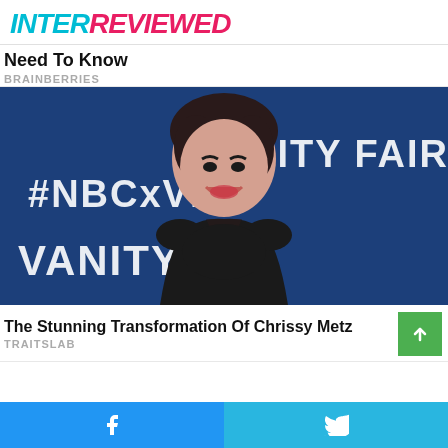INTERREVIEWED
Need To Know
BRAINBERRIES
[Figure (photo): Woman smiling at a Vanity Fair / #NBCxVF event, wearing black outfit, against blue Vanity Fair branded backdrop]
The Stunning Transformation Of Chrissy Metz
TRAITSLAB
Facebook share | Twitter share